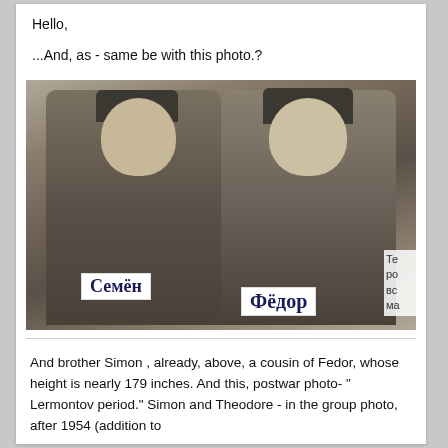Hello,

...And, as - same be with this photo.?
[Figure (photo): Old black-and-white (sepia-toned) postwar photo of two Soviet soldiers in military uniforms and caps. Labels in Russian: 'Семён' (Simon) on the left and 'Фёдор' (Fedor) on the right. Partial text visible on right edge.]
And brother Simon , already, above, a cousin of Fedor, whose height is nearly 179 inches. And this, postwar photo- " Lermontov period." Simon and Theodore - in the group photo, after 1954 (addition to